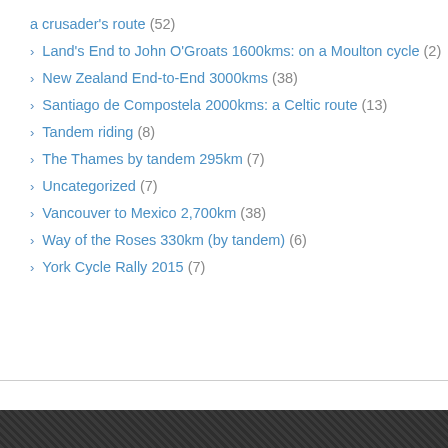a crusader's route (52)
Land's End to John O'Groats 1600kms: on a Moulton cycle (2)
New Zealand End-to-End 3000kms (38)
Santiago de Compostela 2000kms: a Celtic route (13)
Tandem riding (8)
The Thames by tandem 295km (7)
Uncategorized (7)
Vancouver to Mexico 2,700km (38)
Way of the Roses 330km (by tandem) (6)
York Cycle Rally 2015 (7)